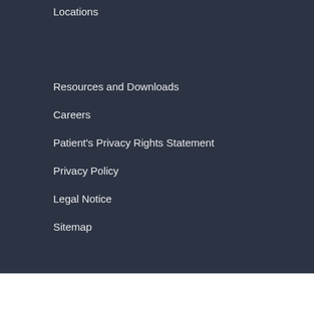Locations
Resources and Downloads
Careers
Patient's Privacy Rights Statement
Privacy Policy
Legal Notice
Sitemap
© 2021 North Shore Pediatric Therapy
Resources and Downloads | Careers | Patient's Privacy Rights Statement | Privacy Policy | Legal Notice | Sitemap